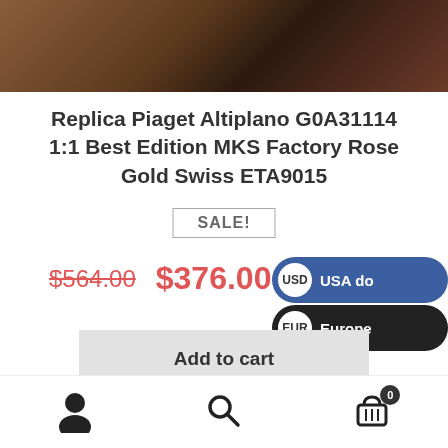[Figure (photo): Close-up photo of a brown crocodile leather watch strap, partially visible at the top of the page]
Replica Piaget Altiplano G0A31114 1:1 Best Edition MKS Factory Rose Gold Swiss ETA9015
SALE!
$564.00  $376.00
USD  USA do...
EUR  Europe...
Add to cart
[Figure (photo): Close-up photo of a black leather watch strap and buckle, partially visible at the bottom of the page]
User icon | Search icon | Cart icon with badge 0